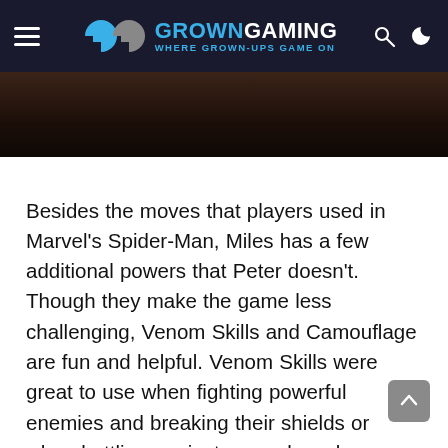GROWN GAMING — WHERE GROWN-UPS GAME ON
[Figure (photo): Dark overhead photo of a gaming setup or board game table]
Besides the moves that players used in Marvel's Spider-Man, Miles has a few additional powers that Peter doesn't. Though they make the game less challenging, Venom Skills and Camouflage are fun and helpful. Venom Skills were great to use when fighting powerful enemies and breaking their shields or when battling against several weaker opponents at the same time. I didn't use it that often, however, as they are sacrificed whenever Miles needs to be healed and I didn't want to risk dying. There were a few times where I was about to die and using Camouflage saved me just in time but I still wanted to